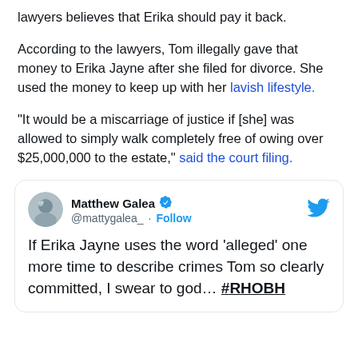lawyers believes that Erika should pay it back.
According to the lawyers, Tom illegally gave that money to Erika Jayne after she filed for divorce. She used the money to keep up with her lavish lifestyle.
"It would be a miscarriage of justice if [she] was allowed to simply walk completely free of owing over $25,000,000 to the estate," said the court filing.
[Figure (screenshot): Embedded tweet from @mattygalea_ (Matthew Galea) with blue verified checkmark: 'If Erika Jayne uses the word ‘alleged’ one more time to describe crimes Tom so clearly committed, I swear to god... #RHOBH']